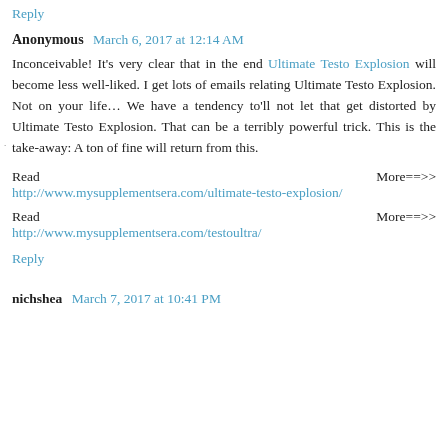Reply
Anonymous March 6, 2017 at 12:14 AM
Inconceivable! It's very clear that in the end Ultimate Testo Explosion will become less well-liked. I get lots of emails relating Ultimate Testo Explosion. Not on your life… We have a tendency to'll not let that get distorted by Ultimate Testo Explosion. That can be a terribly powerful trick. This is the take-away: A ton of fine will return from this.
Read More==>> http://www.mysupplementsera.com/ultimate-testo-explosion/
Read More==>> http://www.mysupplementsera.com/testoultra/
Reply
nichshea March 7, 2017 at 10:41 PM